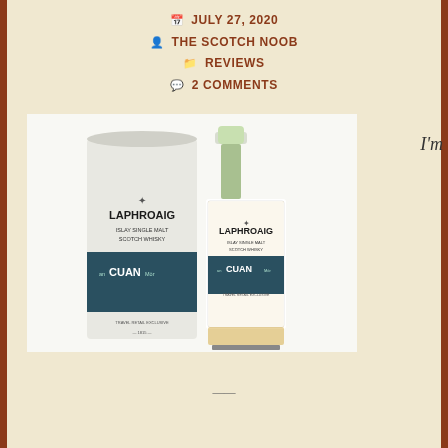JULY 27, 2020
THE SCOTCH NOOB
REVIEWS
2 COMMENTS
[Figure (photo): Laphroaig An Cuan Mor Islay Single Malt Scotch Whisky bottle and box packaging]
I'm